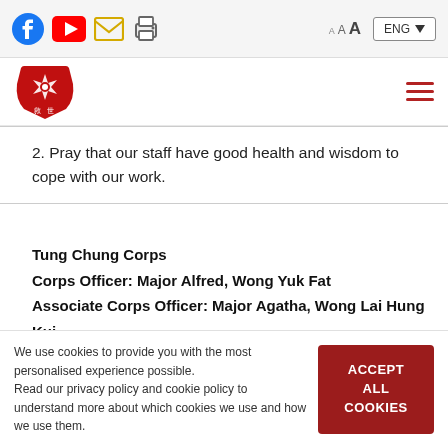Facebook, YouTube, Email, Print icons | A A A | ENG
[Figure (logo): Salvation Army shield logo with Chinese text]
2. Pray that our staff have good health and wisdom to cope with our work.
Tung Chung Corps
Corps Officer: Major Alfred, Wong Yuk Fat
Associate Corps Officer: Major Agatha, Wong Lai Hung Kui
We use cookies to provide you with the most personalised experience possible. Read our privacy policy and cookie policy to understand more about which cookies we use and how we use them.